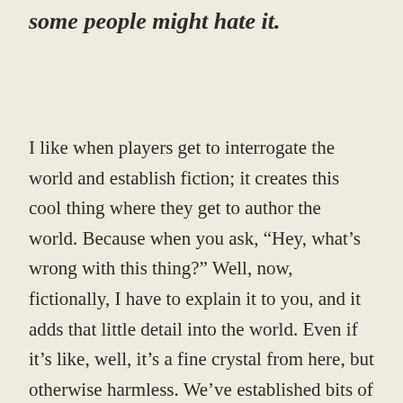some people might hate it.
I like when players get to interrogate the world and establish fiction; it creates this cool thing where they get to author the world. Because when you ask, “Hey, what’s wrong with this thing?” Well, now, fictionally, I have to explain it to you, and it adds that little detail into the world. Even if it’s like, well, it’s a fine crystal from here, but otherwise harmless. We’ve established bits of the world and it feels a touch more real.